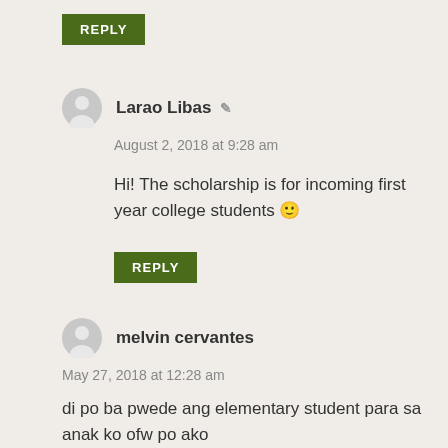REPLY
Larao Libas
August 2, 2018 at 9:28 am
Hi! The scholarship is for incoming first year college students 🙂
REPLY
melvin cervantes
May 27, 2018 at 12:28 am
di po ba pwede ang elementary student para sa anak ko ofw po ako